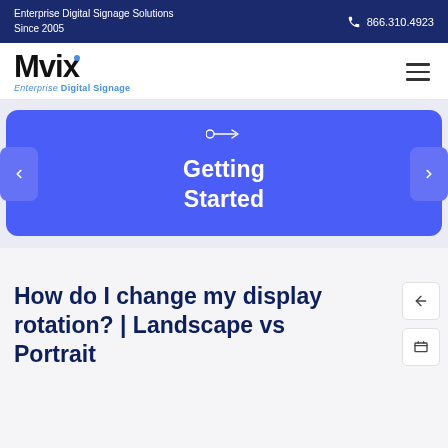Enterprise Digital Signage Solutions Since 2005 | 866.310.4923
[Figure (logo): Mvix Enterprise Digital Signage logo with hamburger menu icon]
[Figure (screenshot): Blue carousel/slider banner with 'Getting Started' text and navigation arrows]
How do I change my display rotation? | Landscape vs Portrait